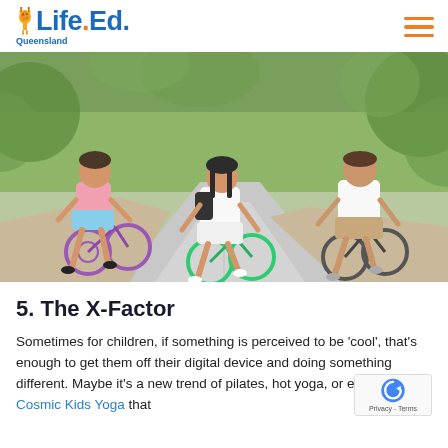Life.Ed. Queensland
[Figure (photo): Three children riding bicycles away from the camera on a paved path surrounded by trees and plants. One child on the left rides a purple bike and wears a pink top, one in the middle wears white shorts, and one on the right wears a white top and tan shorts.]
5. The X-Factor
Sometimes for children, if something is perceived to be ‘cool’, that’s enough to get them off their digital device and doing something different. Maybe it’s a new trend of pilates, hot yoga, or even online Cosmic Kids Yoga that